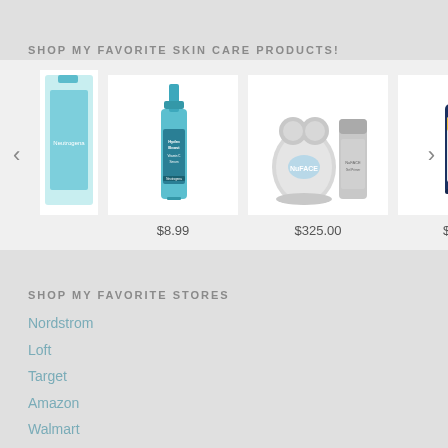SHOP MY FAVORITE SKIN CARE PRODUCTS!
[Figure (photo): Product carousel with three skin care products: a Neutrogena Hydro Boost serum ($8.99), a NuFACE facial device with gel ($325.00), and a TruSkin facial serum in blue dropper bottle ($26.99). Left and right navigation arrows flank the products.]
SHOP MY FAVORITE STORES
Nordstrom
Loft
Target
Amazon
Walmart
Ulta
Sephora
Adornmonde
BK Beauty Brushes
Kendra Scott Jewelry